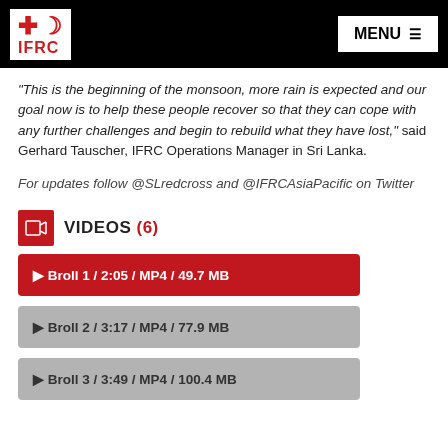IFRC - MENU
"This is the beginning of the monsoon, more rain is expected and our goal now is to help these people recover so that they can cope with any further challenges and begin to rebuild what they have lost," said Gerhard Tauscher, IFRC Operations Manager in Sri Lanka.
For updates follow @SLredcross and @IFRCAsiaPacific on Twitter
VIDEOS (6)
Broll 1 / 2:05 / MP4 / 49.7 MB
Broll 2 / 3:17 / MP4 / 77.9 MB
Broll 3 / 3:49 / MP4 / 100.4 MB